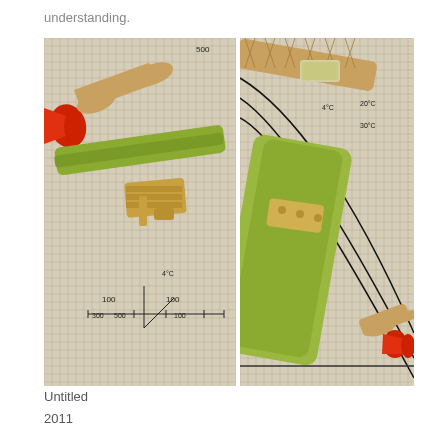understanding.
[Figure (engineering-diagram): Two technical engineering illustrations showing cross-sectional views of welding torch or cutting torch components overlaid on a grid graph background with temperature labels (4°C, 20°C, 30°C) and numerical scales (100, 300, 500). Left image shows the torch mechanism with measurement indicators. Right image shows a detailed cutaway view of the torch head with braided sleeve and temperature curve lines.]
Untitled
2011